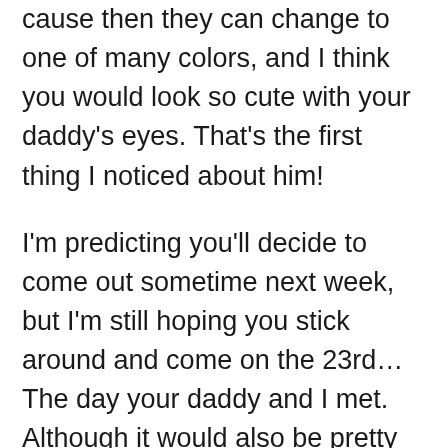cause then they can change to one of many colors, and I think you would look so cute with your daddy's eyes. That's the first thing I noticed about him!
I'm predicting you'll decide to come out sometime next week, but I'm still hoping you stick around and come on the 23rd… The day your daddy and I met. Although it would also be pretty cool if you arrived on Father's Day. What a nice present for your dad that would be! I wouldn't even have to get him anything else! As long as you come in June (I like that month better than July) we'll be good. But I